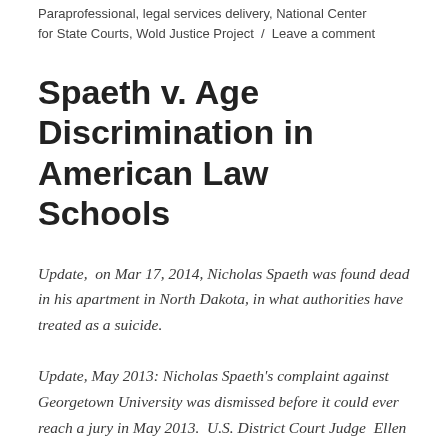Paraprofessional, legal services delivery, National Center for State Courts, Wold Justice Project / Leave a comment
Spaeth v. Age Discrimination in American Law Schools
Update,  on Mar 17, 2014, Nicholas Spaeth was found dead in his apartment in North Dakota, in what authorities have treated as a suicide.
Update, May 2013: Nicholas Spaeth's complaint against Georgetown University was dismissed before it could ever reach a jury in May 2013.  U.S. District Court Judge  Ellen Segal Huvelle